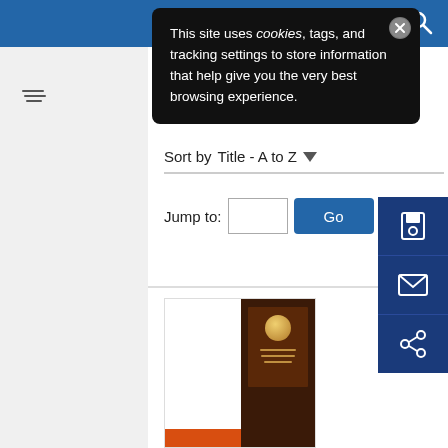[Figure (screenshot): Blue navigation top bar with hamburger menu and search icons on the right]
This site uses cookies, tags, and tracking settings to store information that help give you the very best browsing experience.
Items per page  10
Sort by  Title - A to Z
Jump to:  Go
[Figure (screenshot): Partial book cover visible at bottom of page with brown and orange colors]